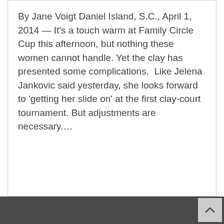By Jane Voigt Daniel Island, S.C., April 1, 2014 — It's a touch warm at Family Circle Cup this afternoon, but nothing these women cannot handle. Yet the clay has presented some complications.  Like Jelena Jankovic said yesterday, she looks forward to 'getting her slide on' at the first clay-court tournament. But adjustments are necessary.…